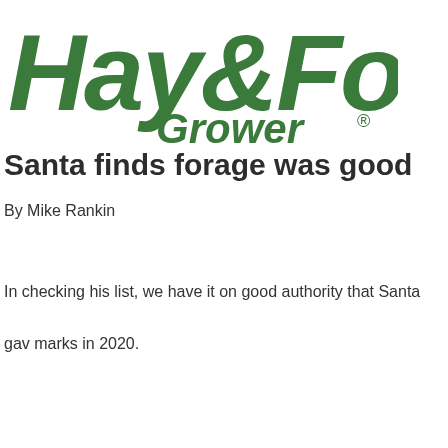[Figure (logo): Hay & Forage Grower magazine logo in dark green]
Santa finds forage was good
By Mike Rankin
In checking his list, we have it on good authority that Santa gave forage marks in 2020.
Thinking back about six months ago, we were given the news that hay supplies had rebounded significantly from the near record low levels that existed on May 1.
This news conveyed a couple of possible ramifications. First, th